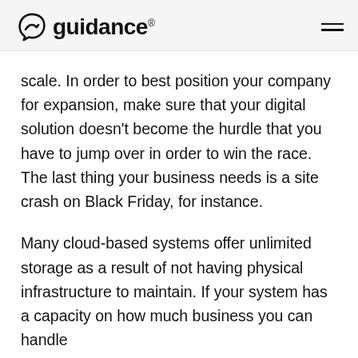guidance®
scale. In order to best position your company for expansion, make sure that your digital solution doesn't become the hurdle that you have to jump over in order to win the race. The last thing your business needs is a site crash on Black Friday, for instance.
Many cloud-based systems offer unlimited storage as a result of not having physical infrastructure to maintain. If your system has a capacity on how much business you can handle